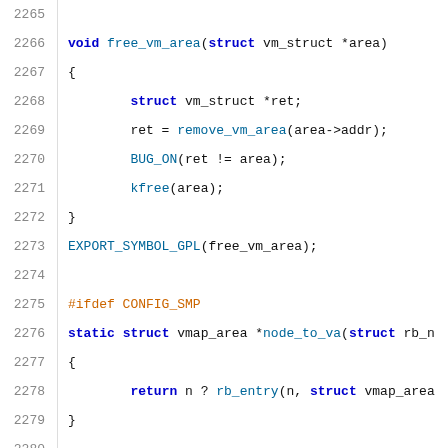Source code listing, lines 2265-2285, showing C kernel code including free_vm_area function, node_to_va function, and pvm_find_next_prev documentation comment.